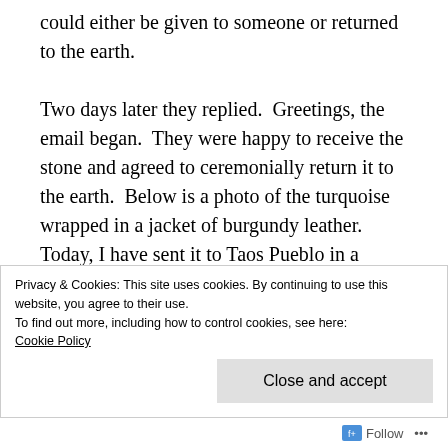could either be given to someone or returned to the earth.

Two days later they replied.  Greetings, the email began.  They were happy to receive the stone and agreed to ceremonially return it to the earth.  Below is a photo of the turquoise wrapped in a jacket of burgundy leather.  Today, I have sent it to Taos Pueblo in a bubble wrap envelope.  It feels good to be sending it back…
Privacy & Cookies: This site uses cookies. By continuing to use this website, you agree to their use.
To find out more, including how to control cookies, see here:
Cookie Policy
Follow ···